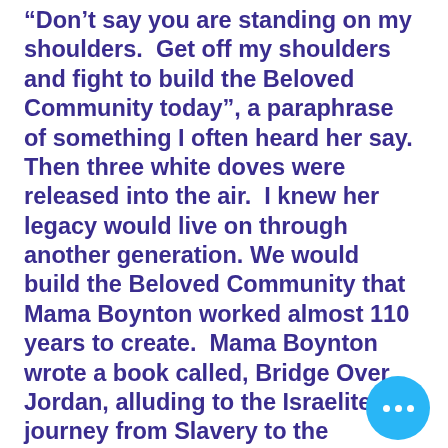“Don’t say you are standing on my shoulders.  Get off my shoulders and fight to build the Beloved Community today”, a paraphrase of something I often heard her say.  Then three white doves were released into the air.  I knew her legacy would live on through another generation. We would build the Beloved Community that Mama Boynton worked almost 110 years to create.  Mama Boynton wrote a book called, Bridge Over Jordan, alluding to the Israelites journey from Slavery to the Promised Land.  It is time for us to possess the land.